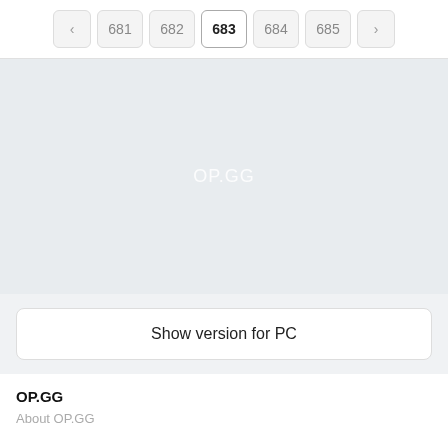< 681 682 683 684 685 >
[Figure (screenshot): Large light gray placeholder area with OP.GG watermark centered]
Show version for PC
OP.GG
About OP.GG